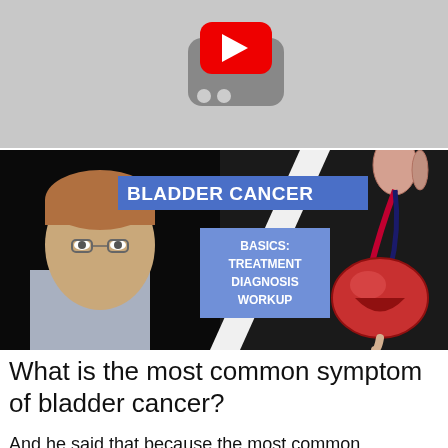[Figure (screenshot): YouTube thumbnail placeholder showing the YouTube logo icon on a grey background]
[Figure (screenshot): Video thumbnail for 'Bladder Cancer Basics: Treatment Diagnosis Workup' showing a doctor on the left side and a medical bladder anatomy illustration on the right side, with text overlays]
What is the most common symptom of bladder cancer?
And he said that because the most common